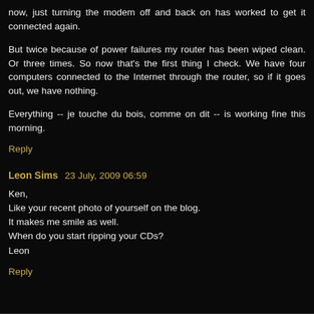now, just turning the modem off and back on has worked to get it connected again.
But twice because of power failures my router has been wiped clean. Or three times. So now that's the first thing I check. We have four computers connected to the Internet through the router, so if it goes out, we have nothing.
Everything -- je touche du bois, comme on dit -- is working fine this morning.
Reply
Leon Sims  23 July, 2009 06:59
Ken,
Like your recent photo of yourself on the blog.
It makes me smile as well.
When do you start ripping your CDs?
Leon
Reply